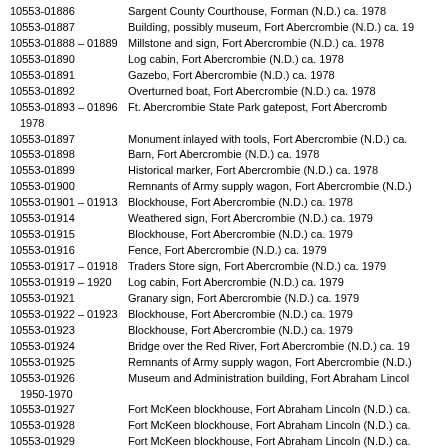10553-01886   Sargent County Courthouse, Forman (N.D.) ca. 1978
10553-01887   Building, possibly museum, Fort Abercrombie (N.D.) ca. 19
10553-01888 – 01889 Millstone and sign, Fort Abercrombie (N.D.) ca. 1978
10553-01890   Log cabin, Fort Abercrombie (N.D.) ca. 1978
10553-01891   Gazebo, Fort Abercrombie (N.D.) ca. 1978
10553-01892   Overturned boat, Fort Abercrombie (N.D.) ca. 1978
10553-01893 – 01896 Ft. Abercrombie State Park gatepost, Fort Abercrombie (N.D.) ca. 1978
10553-01897   Monument inlayed with tools, Fort Abercrombie (N.D.) ca.
10553-01898   Barn, Fort Abercrombie (N.D.) ca. 1978
10553-01899   Historical marker, Fort Abercrombie (N.D.) ca. 1978
10553-01900   Remnants of Army supply wagon, Fort Abercrombie (N.D.)
10553-01901 – 01913 Blockhouse, Fort Abercrombie (N.D.) ca. 1978
10553-01914   Weathered sign, Fort Abercrombie (N.D.) ca. 1979
10553-01915   Blockhouse, Fort Abercrombie (N.D.) ca. 1979
10553-01916   Fence, Fort Abercrombie (N.D.) ca. 1979
10553-01917 – 01918 Traders Store sign, Fort Abercrombie (N.D.) ca. 1979
10553-01919 – 1920 Log cabin, Fort Abercrombie (N.D.) ca. 1979
10553-01921   Granary sign, Fort Abercrombie (N.D.) ca. 1979
10553-01922 – 01923 Blockhouse, Fort Abercrombie (N.D.) ca. 1979
10553-01923   Blockhouse, Fort Abercrombie (N.D.) ca. 1979
10553-01924   Bridge over the Red River, Fort Abercrombie (N.D.) ca. 19
10553-01925   Remnants of Army supply wagon, Fort Abercrombie (N.D.)
10553-01926   Museum and Administration building, Fort Abraham Lincoln (N.D.) ca. 1950-1970
10553-01927   Fort McKeen blockhouse, Fort Abraham Lincoln (N.D.) ca.
10553-01928   Fort McKeen blockhouse, Fort Abraham Lincoln (N.D.) ca.
10553-01929   Fort McKeen blockhouse, Fort Abraham Lincoln (N.D.) ca.
10553-01930   Custer House marker, Fort Abraham Lincoln (N.D.) 1975
10553-01931   Cavalry Post marker, Fort Abraham Lincoln (N.D.) 1975
10553-01932   Custer Trail marker, Fort Abraham Lincoln (N.D.) 1975